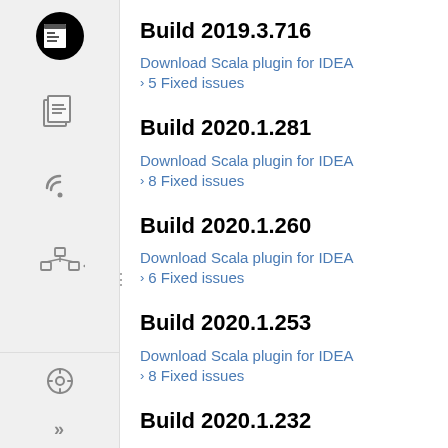Build 2019.3.716
Download Scala plugin for IDEA
5 Fixed issues
Build 2020.1.281
Download Scala plugin for IDEA
8 Fixed issues
Build 2020.1.260
Download Scala plugin for IDEA
6 Fixed issues
Build 2020.1.253
Download Scala plugin for IDEA
8 Fixed issues
Build 2020.1.232